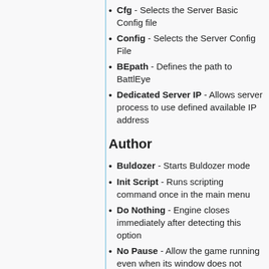Cfg - Selects the Server Basic Config file
Config - Selects the Server Config File
BEpath - Defines the path to BattlEye
Dedicated Server IP - Allows server process to use defined available IP address
Author
Buldozer - Starts Buldozer mode
Init Script - Runs scripting command once in the main menu
Do Nothing - Engine closes immediately after detecting this option
No Pause - Allow the game running even when its window does not have focus